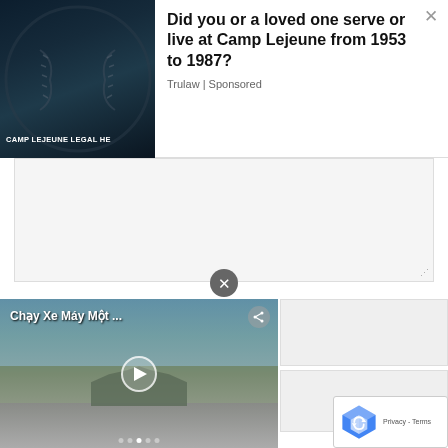[Figure (screenshot): Camp Lejeune Legal Help advertisement banner with dark baseball-themed background image on left and text on right]
Did you or a loved one serve or live at Camp Lejeune from 1953 to 1987?
Trulaw | Sponsored
[Figure (screenshot): Large white/grey advertisement content area with close X button at bottom center]
[Figure (screenshot): Video player showing 'Chay Xe May Mot ...' with Buddhist temple scene, play button, share button and navigation dots]
[Figure (screenshot): reCAPTCHA badge with Privacy - Terms text]